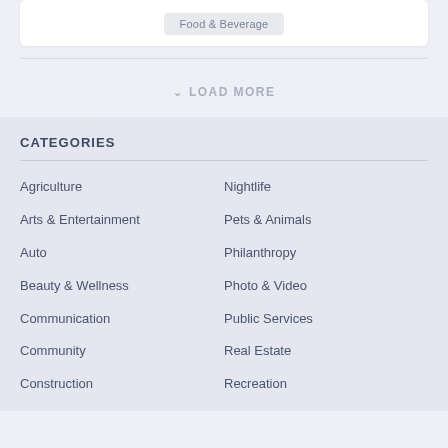Food & Beverage
LOAD MORE
CATEGORIES
Agriculture
Nightlife
Arts & Entertainment
Pets & Animals
Auto
Philanthropy
Beauty & Wellness
Photo & Video
Communication
Public Services
Community
Real Estate
Construction
Recreation